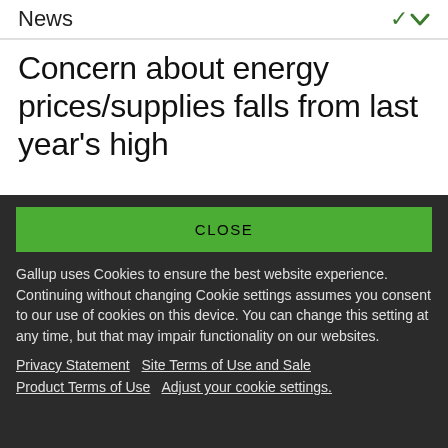News
Concern about energy prices/supplies falls from last year's high
CLOSE
Gallup uses Cookies to ensure the best website experience. Continuing without changing Cookie settings assumes you consent to our use of cookies on this device. You can change this setting at any time, but that may impair functionality on our websites.
Privacy Statement   Site Terms of Use and Sale
Product Terms of Use   Adjust your cookie settings.